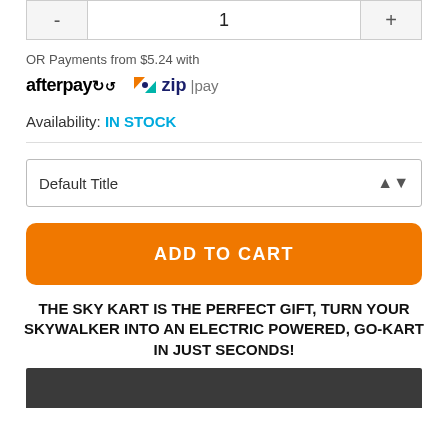[Figure (other): Quantity selector with minus button, '1' in center, plus button]
OR Payments from $5.24 with
[Figure (logo): Afterpay logo and Zip Pay logo side by side]
Availability: IN STOCK
[Figure (other): Default Title dropdown selector]
[Figure (other): ADD TO CART orange button]
THE SKY KART IS THE PERFECT GIFT, TURN YOUR SKYWALKER INTO AN ELECTRIC POWERED, GO-KART IN JUST SECONDS!
[Figure (photo): Dark grey/charcoal background image bar at bottom]